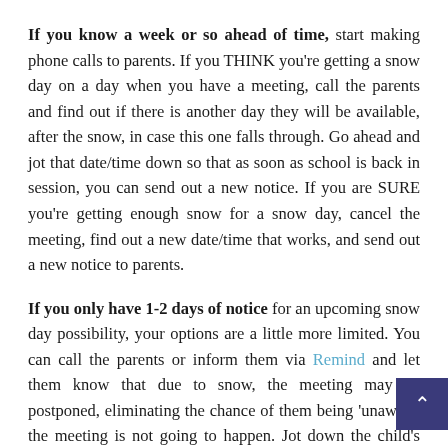If you know a week or so ahead of time, start making phone calls to parents. If you THINK you're getting a snow day on a day when you have a meeting, call the parents and find out if there is another day they will be available, after the snow, in case this one falls through. Go ahead and jot that date/time down so that as soon as school is back in session, you can send out a new notice. If you are SURE you're getting enough snow for a snow day, cancel the meeting, find out a new date/time that works, and send out a new notice to parents.
If you only have 1-2 days of notice for an upcoming snow day possibility, your options are a little more limited. You can call the parents or inform them via Remind and let them know that due to snow, the meeting may be postponed, eliminating the chance of them being 'unaware' the meeting is not going to happen. Jot down the child's name on a notepad, and be prepared to come up with a rescheduled date as soon as school gets back in session.